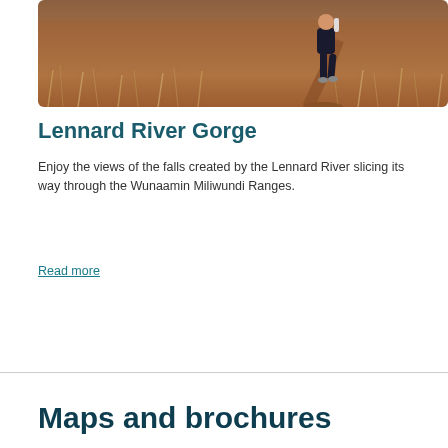[Figure (photo): Person walking on a dirt trail through dry brown grassland and scrubby terrain, photographed from behind showing legs and a water bottle]
Lennard River Gorge
Enjoy the views of the falls created by the Lennard River slicing its way through the Wunaamin Miliwundi Ranges.
Read more
Maps and brochures